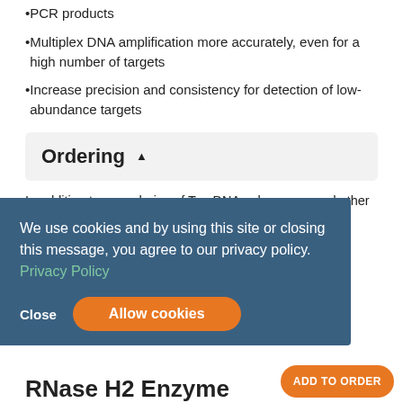PCR products
Multiplex DNA amplification more accurately, even for a high number of targets
Increase precision and consistency for detection of low-abundance targets
Ordering
In addition to your choice of Taq DNA polymerase and other general PCR reagents, rhPCR technology requires the following components:
rhPCR Primers – use instead of conventional PCR
RNase H2 enzyme—needed for activation of rhPCR Primers and PCR product extension
We use cookies and by using this site or closing this message, you agree to our privacy policy. Privacy Policy
RNase H2 Enzyme